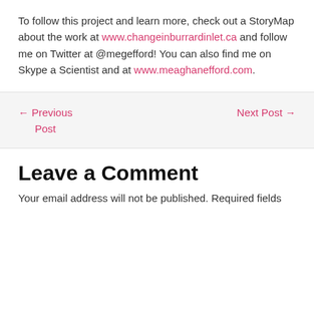To follow this project and learn more, check out a StoryMap about the work at www.changeinburrardinlet.ca and follow me on Twitter at @megefford! You can also find me on Skype a Scientist and at www.meaghanefford.com.
← Previous Post   Next Post →
Leave a Comment
Your email address will not be published. Required fields